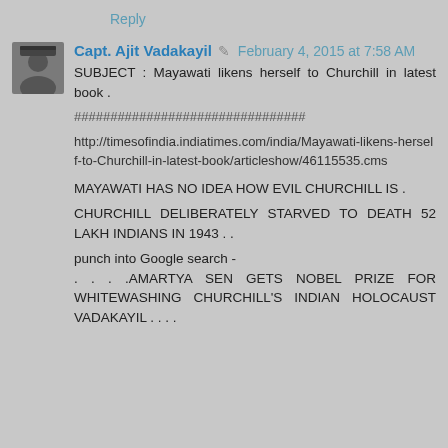Reply
Capt. Ajit Vadakayil ✎ February 4, 2015 at 7:58 AM
SUBJECT : Mayawati likens herself to Churchill in latest book .
################################

http://timesofindia.indiatimes.com/india/Mayawati-likens-herself-to-Churchill-in-latest-book/articleshow/46115535.cms

MAYAWATI HAS NO IDEA HOW EVIL CHURCHILL IS .

CHURCHILL DELIBERATELY STARVED TO DEATH 52 LAKH INDIANS IN 1943 . .

punch into Google search -
. . . .AMARTYA SEN GETS NOBEL PRIZE FOR WHITEWASHING CHURCHILL'S INDIAN HOLOCAUST VADAKAYIL . . . .